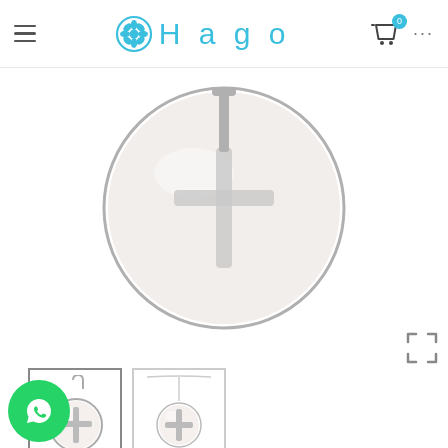Hago
[Figure (photo): Cross nacre pendant close-up view, circular silver pendant with mother-of-pearl and cross design]
[Figure (photo): Thumbnail 1: close-up of cross nacre pendant charm]
[Figure (photo): Thumbnail 2: cross nacre pendant on chain]
CROSS NACRE PENDANT
nd nacre pendant. Leather cord or chain not included in the price.
If you want an additional engraved on the back, also in part indicate personalization